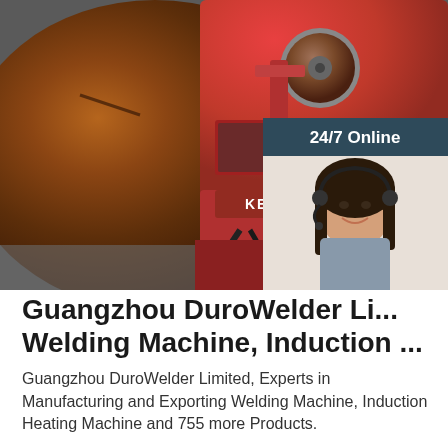[Figure (photo): Close-up photo of an industrial pipe welding machine (red KEMPPI brand welding unit with wire spool) working on a large brown/rust-colored metal pipe. The machine is automated with cables visible. An overlay in the top-right shows a customer service agent (woman with headset, smiling) with '24/7 Online' header, 'Click here for free chat!' text, and an orange 'QUOTATION' button.]
Guangzhou DuroWelder Li... Welding Machine, Induction ...
Guangzhou DuroWelder Limited, Experts in Manufacturing and Exporting Welding Machine, Induction Heating Machine and 755 more Products.